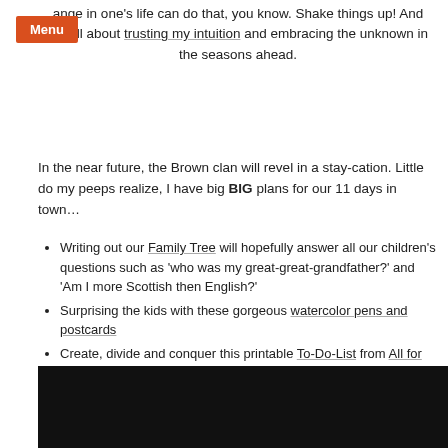Menu
ange in one’s life can do that, you know. Shake things up! And I’m all about trusting my intuition and embracing the unknown in the seasons ahead.
In the near future, the Brown clan will revel in a stay-cation. Little do my peeps realize, I have big BIG plans for our 11 days in town…
Writing out our Family Tree will hopefully answer all our children’s questions such as ‘who was my great-great-grandfather?’ and ‘Am I more Scottish then English?’
Surprising the kids with these gorgeous watercolor pens and postcards
Create, divide and conquer this printable To-Do-List from All for the Boys (such fun, don’t you wish you were here vs. Mexico?)
Nudge my three little ones to slow down, pick up a pencil and write a new pen-pal (see video below!!) Perhaps an International pen-pal is in the making!
[Figure (other): Black video embed area at bottom of page]